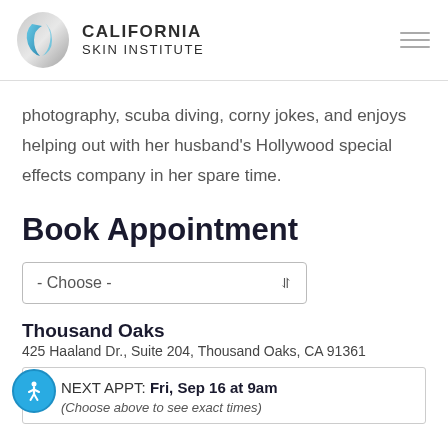[Figure (logo): California Skin Institute logo with stylized blue/silver swirl icon and text 'CALIFORNIA SKIN INSTITUTE']
photography, scuba diving, corny jokes, and enjoys helping out with her husband's Hollywood special effects company in her spare time.
Book Appointment
- Choose -
Thousand Oaks
425 Haaland Dr., Suite 204, Thousand Oaks, CA 91361
NEXT APPT: Fri, Sep 16 at 9am
(Choose above to see exact times)